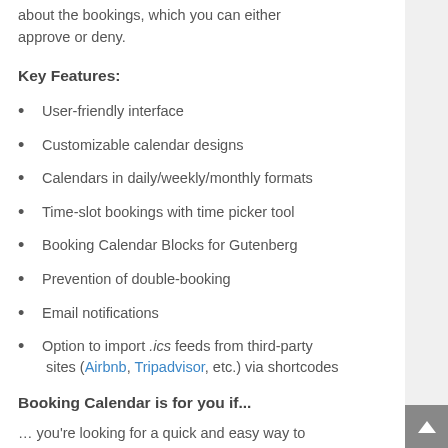about the bookings, which you can either approve or deny.
Key Features:
User-friendly interface
Customizable calendar designs
Calendars in daily/weekly/monthly formats
Time-slot bookings with time picker tool
Booking Calendar Blocks for Gutenberg
Prevention of double-booking
Email notifications
Option to import .ics feeds from third-party sites (Airbnb, Tripadvisor, etc.) via shortcodes
Booking Calendar is for you if...
… you're looking for a quick and easy way to manage multiple appointments per day. It's also an excellent option if you want to integrate